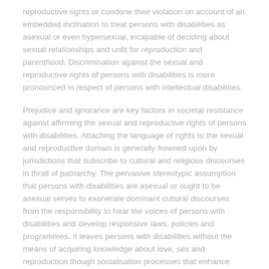reproductive rights or condone their violation on account of an embedded inclination to treat persons with disabilities as asexual or even hypersexual, incapable of deciding about sexual relationships and unfit for reproduction and parenthood. Discrimination against the sexual and reproductive rights of persons with disabilities is more pronounced in respect of persons with intellectual disabilities.
Prejudice and ignorance are key factors in societal resistance against affirming the sexual and reproductive rights of persons with disabilities. Attaching the language of rights to the sexual and reproductive domain is generally frowned upon by jurisdictions that subscribe to cultural and religious discourses in thrall of patriarchy. The pervasive stereotypic assumption that persons with disabilities are asexual or ought to be asexual serves to exonerate dominant cultural discourses from the responsibility to hear the voices of persons with disabilities and develop responsive laws, policies and programmes. It leaves persons with disabilities without the means of acquiring knowledge about love, sex and reproduction though socialisation processes that enhance their physical, emotional and social wellbeing. It also serves to deny them access to the sexual and reproductive services they need.
It is not just prejudice and ignorance that are key to explaining societal resistance against affirming the sexual and reproductive choices of persons with disabilities but in many instances a paternalistic desire to provide protection to what is perceived to be a vulnerable social group.